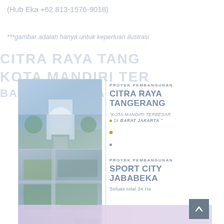(Hub Eka +62 813-1576-9018)
***gambar adalah hanya untuk keperluan ilustrasi
[Figure (photo): Project card for Citra Raya Tangerang showing a photo of a building with arched entrance and garden, alongside text 'PROYEK PEMBANGUNAN CITRA RAYA TANGERANG "KOTA MANDIRI TERBESAR DI BARAT JAKARTA"']
[Figure (photo): Project card for Sport City Jababeka showing an aerial/promotional photo, alongside text 'PROYEK PEMBANGUNAN SPORT CITY JABABEKA Seluas total 34 Ha']